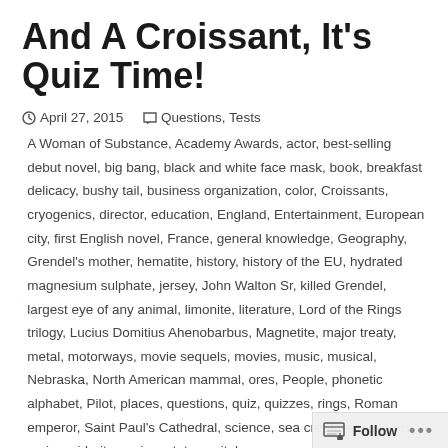And A Croissant, It's Quiz Time!
April 27, 2015   Questions, Tests   A Woman of Substance, Academy Awards, actor, best-selling debut novel, big bang, black and white face mask, book, breakfast delicacy, bushy tail, business organization, color, Croissants, cryogenics, director, education, England, Entertainment, European city, first English novel, France, general knowledge, Geography, Grendel's mother, hematite, history, history of the EU, hydrated magnesium sulphate, jersey, John Walton Sr, killed Grendel, largest eye of any animal, limonite, literature, Lord of the Rings trilogy, Lucius Domitius Ahenobarbus, Magnetite, major treaty, metal, motorways, movie sequels, movies, music, musical, Nebraska, North American mammal, ores, People, phonetic alphabet, Pilot, places, questions, quiz, quizzes, rings, Roman emperor, Saint Paul's Cathedral, science, sea creature, seasons, series, siderite, spring, state capital